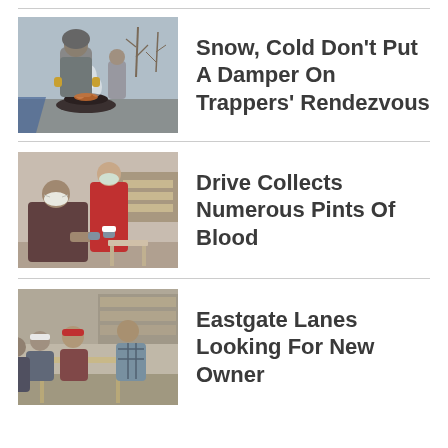[Figure (photo): Person cooking over a fire pan outdoors in winter, bare trees in background]
Snow, Cold Don't Put A Damper On Trappers' Rendezvous
[Figure (photo): Person wearing N95 mask seated in chair while masked healthcare worker in red uniform takes blood]
Drive Collects Numerous Pints Of Blood
[Figure (photo): People seated at tables in what appears to be a community or bowling center]
Eastgate Lanes Looking For New Owner